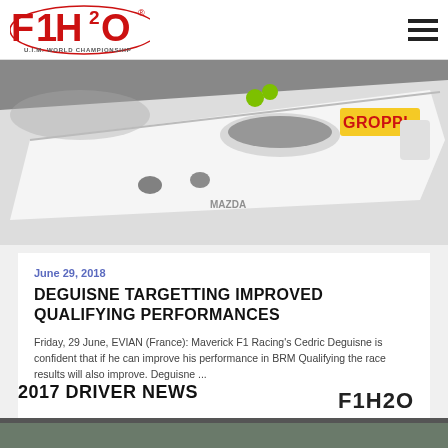F1H2O U.I.M. World Championship
[Figure (photo): Aerial or side view of a white F1 powerboat racing hull with GROPPI branding, on water with spray visible.]
June 29, 2018
DEGUISNE TARGETTING IMPROVED QUALIFYING PERFORMANCES
Friday, 29 June, EVIAN (France): Maverick F1 Racing's Cedric Deguisne is confident that if he can improve his performance in BRM Qualifying the race results will also improve. Deguisne ...
F1H2O
2017 DRIVER NEWS
[Figure (photo): Partial view of another racing image, bottom strip.]